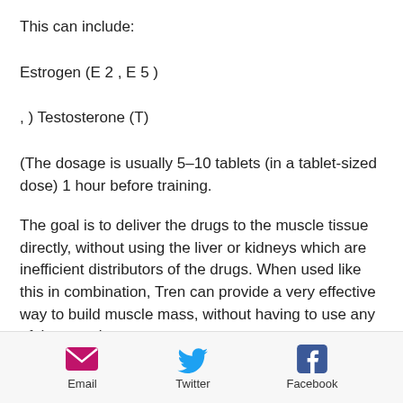This can include:
Estrogen (E 2 , E 5 )
, ) Testosterone (T)
(The dosage is usually 5–10 tablets (in a tablet-sized dose) 1 hour before training.
The goal is to deliver the drugs to the muscle tissue directly, without using the liver or kidneys which are inefficient distributors of the drugs. When used like this in combination, Tren can provide a very effective way to build muscle mass, without having to use any of the muscles.
The dosage is only an estimate, and this
[Figure (infographic): Footer bar with Email, Twitter, and Facebook share icons and labels]